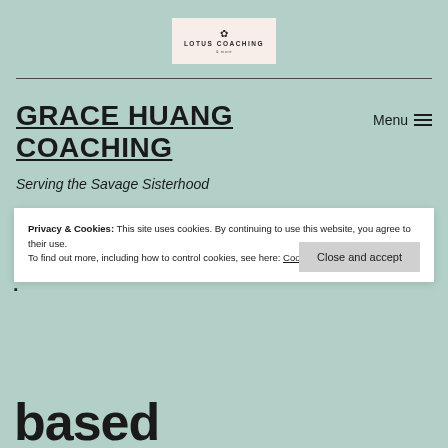[Figure (logo): Lotus Coaching logo with lotus flower icon and text 'LOTUS COACHING' on a light pink/cream background]
GRACE HUANG COACHING
Serving the Savage Sisterhood
Menu ≡
Privacy & Cookies: This site uses cookies. By continuing to use this website, you agree to their use.
To find out more, including how to control cookies, see here: Cookie Policy
Close and accept
based